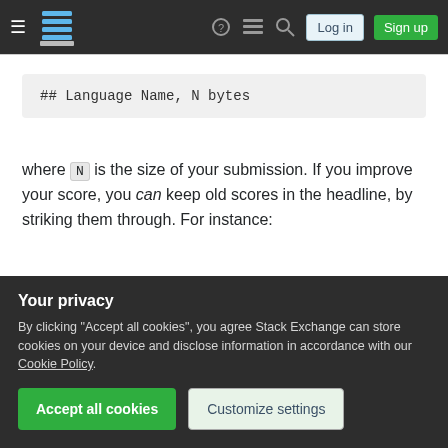Stack Exchange navigation bar with hamburger menu, logo, help, chat, search icons, Log in and Sign up buttons
[Figure (screenshot): Code block showing: ## Language Name, N bytes]
where N is the size of your submission. If you improve your score, you can keep old scores in the headline, by striking them through. For instance:
[Figure (screenshot): Code block showing: ## Ruby, <s>104</s> <s>101</s> 96 bytes]
If there you want to include multiple numbers in your header (e.g. because your score is the sum of two
Your privacy
By clicking "Accept all cookies", you agree Stack Exchange can store cookies on your device and disclose information in accordance with our Cookie Policy.
Accept all cookies   Customize settings